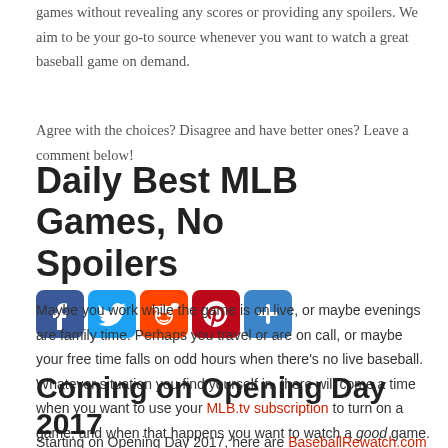games without revealing any scores or providing any spoilers. We aim to be your go-to source whenever you want to watch a great baseball game on demand.
Agree with the choices? Disagree and have better ones? Leave a comment below!
Daily Best MLB Games, No Spoilers
[Figure (infographic): Social media sharing icons: Facebook (blue), Twitter (blue), Reddit (orange), Pinterest (red), and a generic share button (blue)]
Maybe you work while the game is on live, or maybe evenings are family time. Perhaps you travel or are on call, or maybe your free time falls on odd hours when there's no live baseball. Whatever situation you find yourself in, there will come a time when you want to use your MLB.tv subscription to turn on a game, and when that happens you want to watch a good game. That's why this site is here.
Coming on Opening Day 2017
Starting on Opening Day 2017, here are BaseballRewatch.com we will